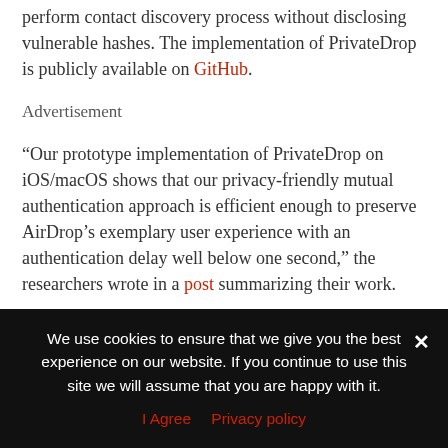perform contact discovery process without disclosing vulnerable hashes. The implementation of PrivateDrop is publicly available on GitHub.
Advertisement
“Our prototype implementation of PrivateDrop on iOS/macOS shows that our privacy-friendly mutual authentication approach is efficient enough to preserve AirDrop’s exemplary user experience with an authentication delay well below one second,” the researchers wrote in a post summarizing their work.
As of this week, Apple has yet to indicate if it has plans to adopt PrivateDrop or employ some other way to fix the leakage. Apple representatives didn’t respond to an email seeking comment for this
We use cookies to ensure that we give you the best experience on our website. If you continue to use this site we will assume that you are happy with it.
I Agree   Privacy policy